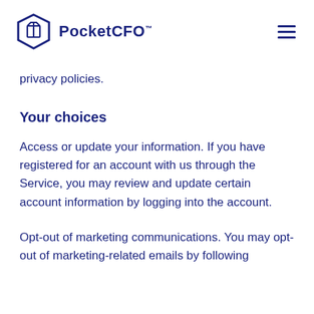PocketCFO™
privacy policies.
Your choices
Access or update your information. If you have registered for an account with us through the Service, you may review and update certain account information by logging into the account.
Opt-out of marketing communications. You may opt-out of marketing-related emails by following